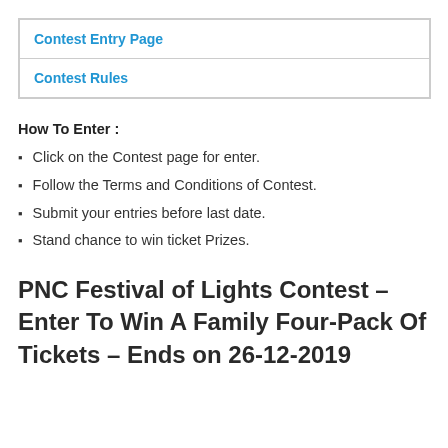| Contest Entry Page |
| Contest Rules |
How To Enter :
Click on the Contest page for enter.
Follow the Terms and Conditions of Contest.
Submit your entries before last date.
Stand chance to win ticket Prizes.
PNC Festival of Lights Contest – Enter To Win A Family Four-Pack Of Tickets – Ends on 26-12-2019